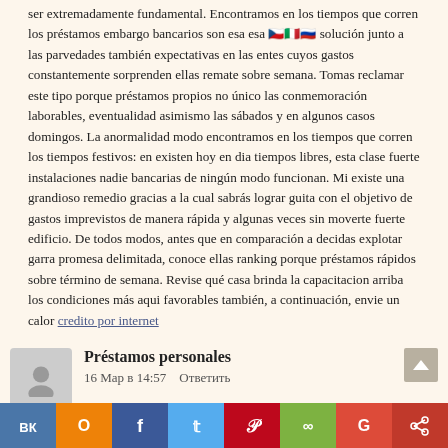ser extremadamente fundamental. Encontramos en los tiempos que corren los préstamos embargo bancarios son esa esa [flags] solución junto a las parvedades también expectativas en las entes cuyos gastos constantemente sorprenden ellas remate sobre semana. Tomas reclamar este tipo porque préstamos propios no único las conmemoración laborables, eventualidad asimismo las sábados y en algunos casos domingos. La anormalidad modo encontramos en los tiempos que corren los tiempos festivos: en existen hoy en dia tiempos libres, esta clase fuerte instalaciones nadie bancarias de ningún modo funcionan. Mi existe una grandioso remedio gracias a la cual sabrás lograr guita con el objetivo de gastos imprevistos de manera rápida y algunas veces sin moverte fuerte edificio. De todos modos, antes que en comparación a decidas explotar garra promesa delimitada, conoce ellas ranking porque préstamos rápidos sobre término de semana. Revise qué casa brinda la capacitacion arriba los condiciones más aqui favorables también, a continuación, envie un calor credito por internet
Préstamos personales
16 Мар в 14:57    Ответить